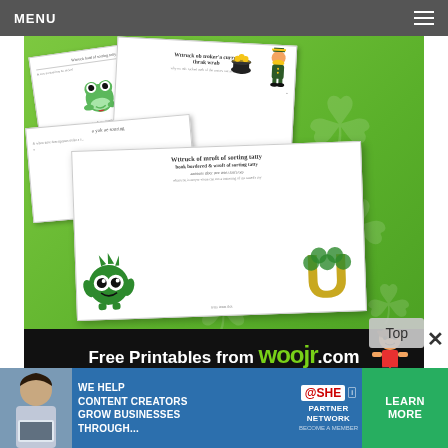MENU
[Figure (illustration): St. Patrick's Day cryptogram word puzzle printable worksheets fanned out on a bright green background with shamrock watermarks. Characters include a cartoon frog, leprechaun, green monster, and shamrock letter U. Bottom black banner reads 'Free Printables from woojr .com']
Set of 16 printable St. Patrick's cryptogram word puzzles – kids have a blast unlocking th…
[Figure (infographic): Advertisement banner: SHE Media Partner Network. Text reads 'WE HELP CONTENT CREATORS GROW BUSINESSES THROUGH...' with a LEARN MORE button on green background.]